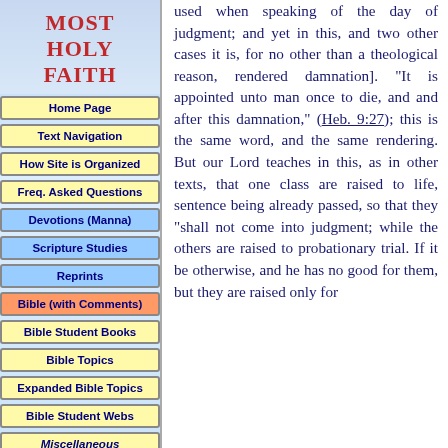MOST HOLY FAITH
Home Page
Text Navigation
How Site is Organized
Freq. Asked Questions
Devotions (Manna)
Scripture Studies
Reprints
Bible (with Comments)
Bible Student Books
Bible Topics
Expanded Bible Topics
Bible Student Webs
Miscellaneous
used when speaking of the day of judgment; and yet in this, and two other cases it is, for no other than a theological reason, rendered damnation]. "It is appointed unto man once to die, and and after this damnation," (Heb. 9:27); this is the same word, and the same rendering. But our Lord teaches in this, as in other texts, that one class are raised to life, sentence being already passed, so that they "shall not come into judgment; while the others are raised to probationary trial. If it be otherwise, and he has no good for them, but they are raised only for